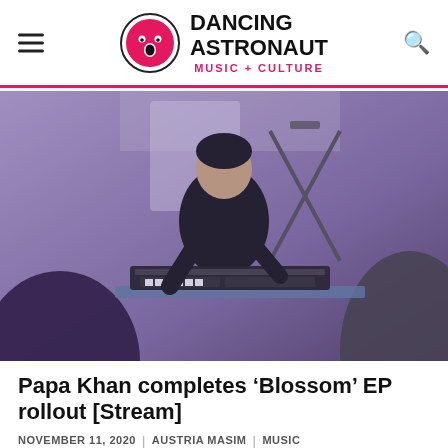Dancing Astronaut — Music + Culture
[Figure (photo): A DJ or musician wearing a black t-shirt operating DJ equipment and a keyboard/synthesizer on a table, viewed from behind audience members, in a purple-tinted indoor setting.]
Papa Khan completes ‘Blossom’ EP rollout [Stream]
NOVEMBER 11, 2020 | AUSTRIA MASIM | MUSIC
After teasing his viral track ‘Rain’ in June, Papa Khan has at last delivered the EP from which it hails in full.